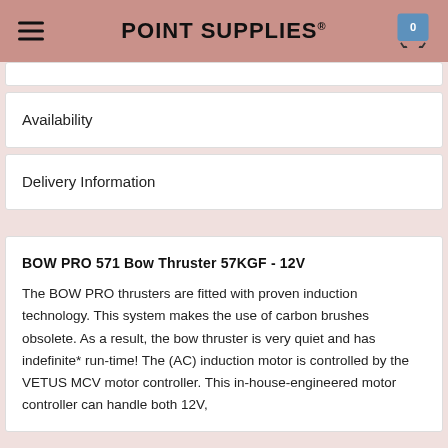POINT SUPPLIES®
Availability
Delivery Information
BOW PRO 571 Bow Thruster 57KGF - 12V
The BOW PRO thrusters are fitted with proven induction technology. This system makes the use of carbon brushes obsolete. As a result, the bow thruster is very quiet and has indefinite* run-time! The (AC) induction motor is controlled by the VETUS MCV motor controller. This in-house-engineered motor controller can handle both 12V,